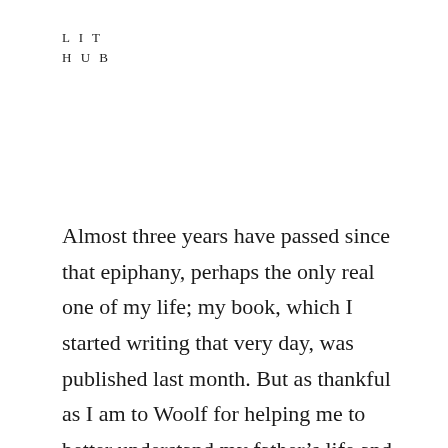LIT
HUB
Almost three years have passed since that epiphany, perhaps the only real one of my life; my book, which I started writing that very day, was published last month. But as thankful as I am to Woolf for helping me to better understand my father’s life and